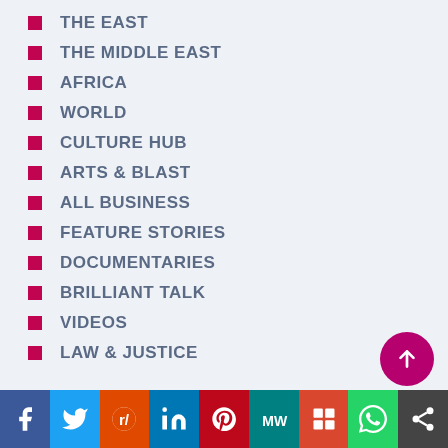THE EAST
THE MIDDLE EAST
AFRICA
WORLD
CULTURE HUB
ARTS & BLAST
ALL BUSINESS
FEATURE STORIES
DOCUMENTARIES
BRILLIANT TALK
VIDEOS
LAW & JUSTICE